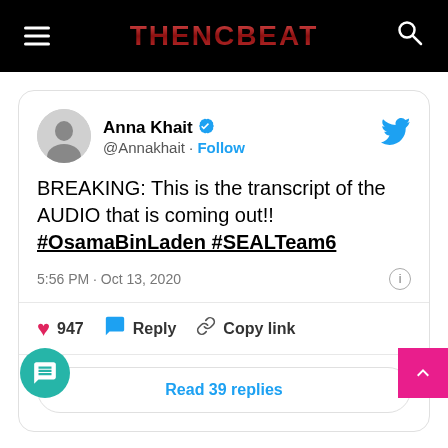THENCBEAT
[Figure (screenshot): Embedded tweet from Anna Khait (@Annakhait) with verified badge, posted 5:56 PM Oct 13, 2020. Tweet text: BREAKING: This is the transcript of the AUDIO that is coming out!! #OsamaBinLaden #SEALTeam6. 947 likes, Reply, Copy link, Read 39 replies.]
You can read Noe's tweets from his Twitter account below:
June 06, 2011: